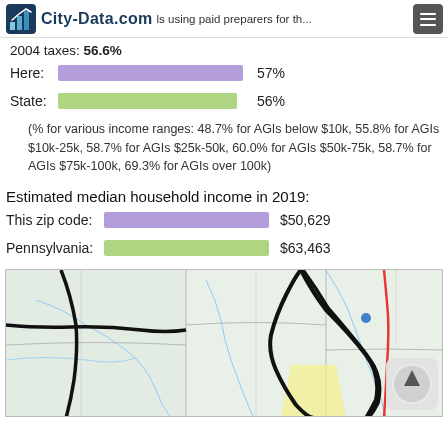City-Data.com — individuals using paid preparers for the 2004 taxes: 56.6%
[Figure (bar-chart): Individuals using paid preparers]
(% for various income ranges: 48.7% for AGIs below $10k, 55.8% for AGIs $10k-25k, 58.7% for AGIs $25k-50k, 60.0% for AGIs $50k-75k, 58.7% for AGIs $75k-100k, 69.3% for AGIs over 100k)
Estimated median household income in 2019:
[Figure (bar-chart): Estimated median household income in 2019]
[Figure (map): Geographic map showing zip code boundaries in Pennsylvania with roads and county lines]